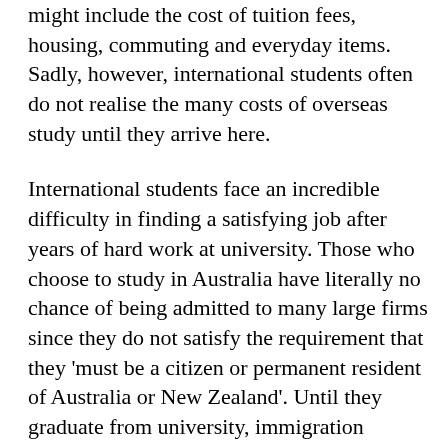might include the cost of tuition fees, housing, commuting and everyday items. Sadly, however, international students often do not realise the many costs of overseas study until they arrive here.
International students face an incredible difficulty in finding a satisfying job after years of hard work at university. Those who choose to study in Australia have literally no chance of being admitted to many large firms since they do not satisfy the requirement that they 'must be a citizen or permanent resident of Australia or New Zealand'. Until they graduate from university, immigration legislation dictates that no international student can be granted such a permanent residency visa. This is particularly problematic given that Australian companies usually commence their